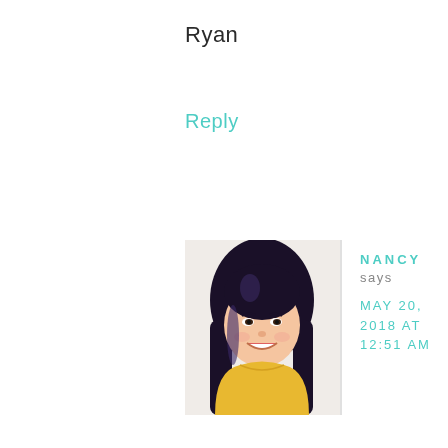Ryan
Reply
[Figure (photo): Profile photo of Nancy, a young Asian woman with long dark hair, smiling, wearing a yellow top]
NANCY says MAY 20, 2018 AT 12:51 AM
LOL when you said welcome cookies, I thought